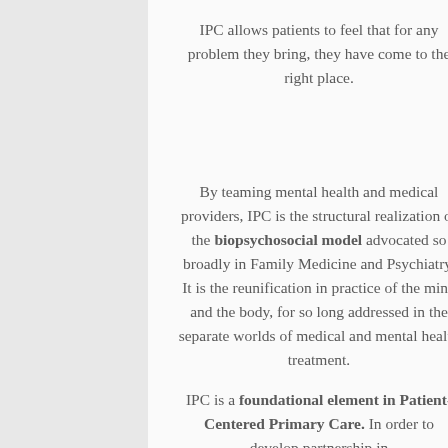IPC allows patients to feel that for any problem they bring, they have come to the right place.
By teaming mental health and medical providers, IPC is the structural realization of the biopsychosocial model advocated so broadly in Family Medicine and Psychiatry. It is the reunification in practice of the mind and the body, for so long addressed in the separate worlds of medical and mental health treatment.
IPC is a foundational element in Patient-Centered Primary Care. In order to develop partnership in